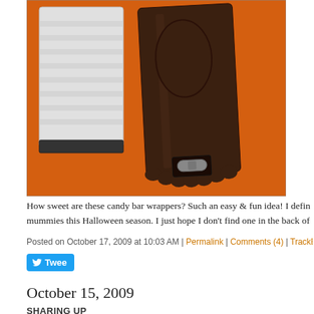[Figure (photo): Halloween candy bar wrappers on orange background. On the left is a white bandage-wrapped mummy candy bar. On the right is a dark brown Frankenstein-style candy bar wrapper with a scalloped bottom edge and a small gray bolt detail, lying on an orange surface.]
How sweet are these candy bar wrappers? Such an easy & fun idea! I defin mummies this Halloween season. I just hope I don't find one in the back of
Posted on October 17, 2009 at 10:03 AM | Permalink | Comments (4) | TrackBack (0)
Tweet
October 15, 2009
SHARING UP